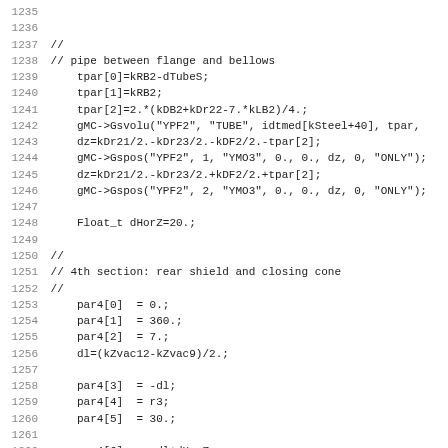1235
1236
1237 //
1238 // pipe between flange and bellows
1239     tpar[0]=kRB2-dTubeS;
1240     tpar[1]=kRB2;
1241     tpar[2]=2.*(kDB2+kDr22-7.*kLB2)/4.;
1242     gMC->Gsvolu("YPF2", "TUBE", idtmed[kSteel+40], tpar,
1243     dz=kDr21/2.-kDr23/2.-kDF2/2.-tpar[2];
1244     gMC->Gspos("YPF2", 1, "YMO3", 0., 0., dz, 0, "ONLY");
1245     dz=kDr21/2.-kDr23/2.+kDF2/2.+tpar[2];
1246     gMC->Gspos("YPF2", 2, "YMO3", 0., 0., dz, 0, "ONLY");
1247
1248     Float_t dHorZ=20.;
1249
1250 //
1251 // 4th section: rear shield and closing cone
1252 //
1253     par4[0]  = 0.;
1254     par4[1]  = 360.;
1255     par4[2]  = 7.;
1256     dl=(kZvac12-kZvac9)/2.;
1257
1258     par4[3]  = -dl;
1259     par4[4]  = r3;
1260     par4[5]  = 30.;
1261
1262     par4[6]  = -dl+dHorZ;
1263     par4[7]  = r3;
1264     par4[8]  = 30.;
1265
1266     par4[9]  = -dl+(kZvac10-kZvac9);
1267     par4[10] = r3+(kZvac10-kZvac9-dHorZ) * TMath::Tan(k